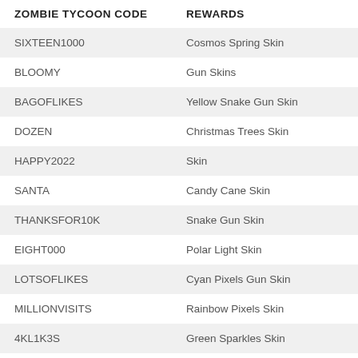| ZOMBIE TYCOON CODE | REWARDS |
| --- | --- |
| SIXTEEN1000 | Cosmos Spring Skin |
| BLOOMY | Gun Skins |
| BAGOFLIKES | Yellow Snake Gun Skin |
| DOZEN | Christmas Trees Skin |
| HAPPY2022 | Skin |
| SANTA | Candy Cane Skin |
| THANKSFOR10K | Snake Gun Skin |
| EIGHT000 | Polar Light Skin |
| LOTSOFLIKES | Cyan Pixels Gun Skin |
| MILLIONVISITS | Rainbow Pixels Skin |
| 4KL1K3S | Green Sparkles Skin |
| UNIVERSE | Power Clouds Skin |